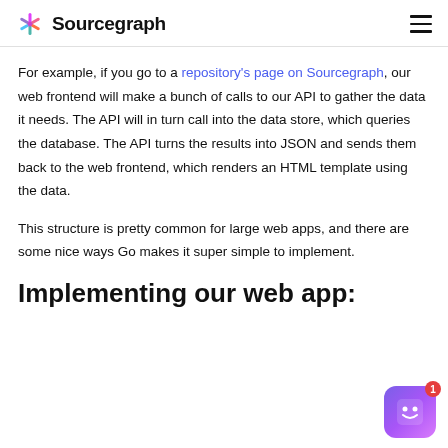Sourcegraph
For example, if you go to a repository's page on Sourcegraph, our web frontend will make a bunch of calls to our API to gather the data it needs. The API will in turn call into the data store, which queries the database. The API turns the results into JSON and sends them back to the web frontend, which renders an HTML template using the data.
This structure is pretty common for large web apps, and there are some nice ways Go makes it super simple to implement.
Implementing our web app: